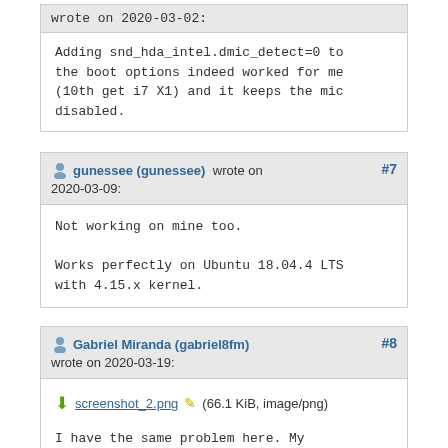wrote on 2020-03-02:
Adding snd_hda_intel.dmic_detect=0 to the boot options indeed worked for me (10th get i7 X1) and it keeps the mic disabled.
gunessee (gunessee) wrote on 2020-03-09: #7
Not working on mine too.

Works perfectly on Ubuntu 18.04.4 LTS with 4.15.x kernel.
Gabriel Miranda (gabriel8fm) wrote on 2020-03-19: #8
screenshot_2.png (66.1 KiB, image/png)
I have the same problem here. My laptop is Dell G3-3590-A20P which have 2 audio cards:

00:1f.3 Multimedia audio controller: